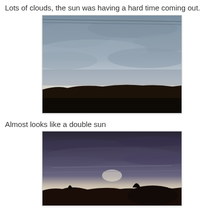Lots of clouds, the sun was having a hard time coming out.
[Figure (photo): Outdoor photograph of a cloudy sky at sunrise or sunset. Dark silhouette of trees/landscape at the bottom, with the sun barely visible through heavy cloud cover. Sky is grey-blue with some lighter patches near the horizon.]
Almost looks like a double sun
[Figure (photo): Outdoor photograph of a cloudy sky with the sun visible through wispy clouds, creating a double-sun or glowing halo effect. Dark silhouette of trees and hills at the bottom. Sky is dark grey-purple with a bright glow near the center.]